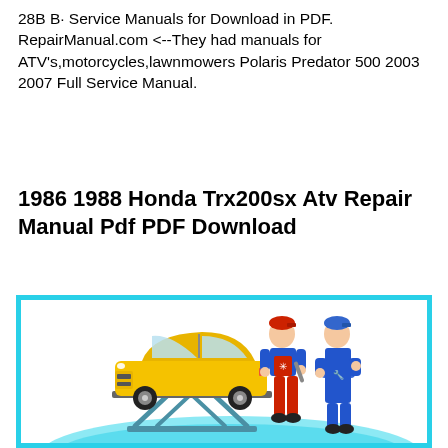28B B· Service Manuals for Download in PDF. RepairManual.com <--They had manuals for ATV's,motorcycles,lawnmowers Polaris Predator 500 2003 2007 Full Service Manual.
1986 1988 Honda Trx200sx Atv Repair Manual Pdf PDF Download
[Figure (illustration): Illustration showing two mechanics in overalls and caps standing next to a yellow car on a lift/jack, with a light blue oval backdrop. The left mechanic wears blue top and red overalls, the right mechanic wears full blue outfit. A yellow car is on scissor lift in the background.]